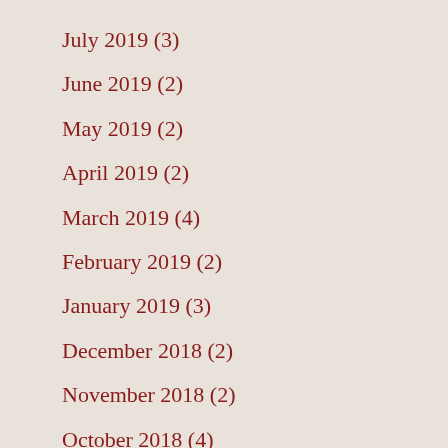July 2019 (3)
June 2019 (2)
May 2019 (2)
April 2019 (2)
March 2019 (4)
February 2019 (2)
January 2019 (3)
December 2018 (2)
November 2018 (2)
October 2018 (4)
September 2018 (3)